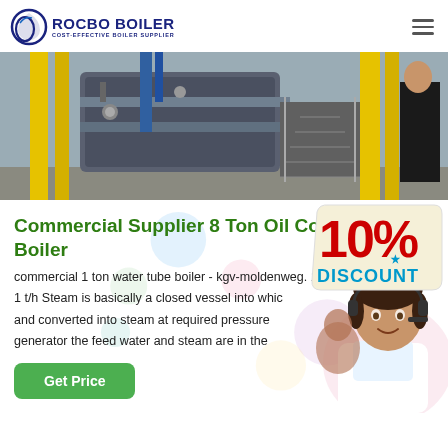ROCBO BOILER - COST-EFFECTIVE BOILER SUPPLIER
[Figure (photo): Industrial boiler room with yellow pipes, steel structures, and workers]
Commercial Supplier 8 Ton Oil Condensing Boiler
[Figure (infographic): 10% DISCOUNT promotional badge]
commercial 1 ton water tube boiler - kgv-moldenweg. 1 steam boil 1 t/h Steam is basically a closed vessel into whic and converted into steam at required pressure generator the feed water and steam are in the
[Figure (photo): Customer service agent with headset smiling]
Get Price